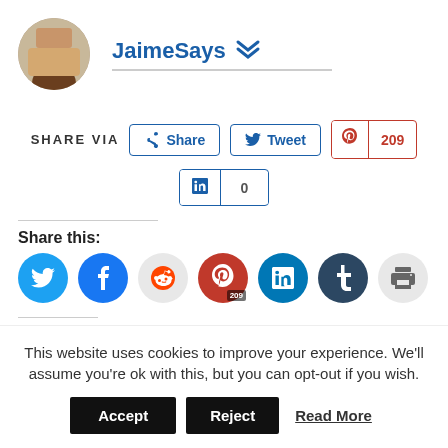[Figure (photo): Circular avatar photo of a person sitting at a desk]
JaimeSays
SHARE VIA  Share  Tweet  209  in  0
Share this:
[Figure (infographic): Row of social share icon circles: Twitter, Facebook, Reddit, Pinterest (209), LinkedIn, Tumblr, Print]
Related
This website uses cookies to improve your experience. We'll assume you're ok with this, but you can opt-out if you wish.
Accept  Reject  Read More